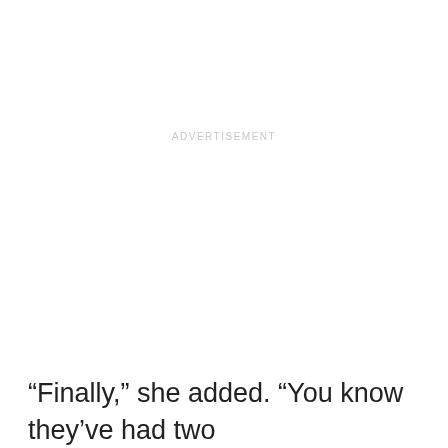ADVERTISEMENT
“Finally,” she added. “You know they’ve had two